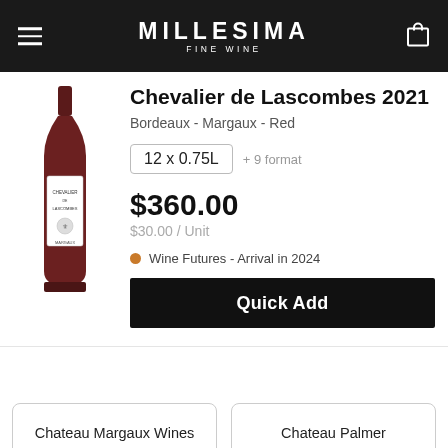MILLESIMA FINE WINE
Chevalier de Lascombes 2021
Bordeaux - Margaux - Red
12 x 0.75L + 9 format
$360.00
$30.00 / Unit
Wine Futures - Arrival in 2024
Quick Add
Chateau Margaux Wines
Chateau Palmer